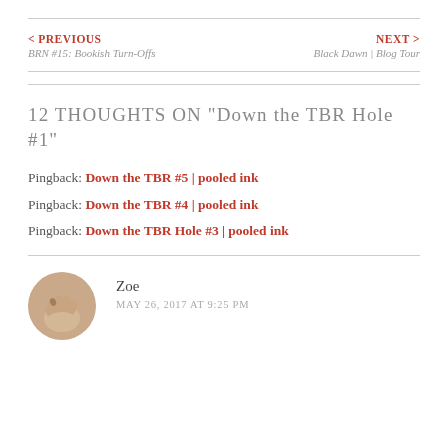< PREVIOUS
BRN #15: Bookish Turn-Offs
NEXT >
Black Dawn | Blog Tour
12 thoughts on "Down the TBR Hole #1"
Pingback: Down the TBR #5 | pooled ink
Pingback: Down the TBR #4 | pooled ink
Pingback: Down the TBR Hole #3 | pooled ink
Zoe
MAY 26, 2017 AT 9:25 PM